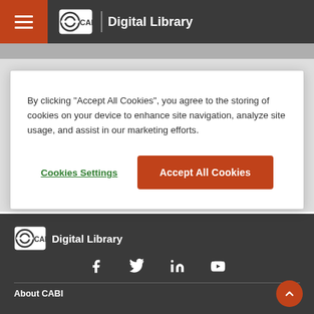CABI Digital Library
By clicking “Accept All Cookies”, you agree to the storing of cookies on your device to enhance site navigation, analyze site usage, and assist in our marketing efforts.
Cookies Settings
Accept All Cookies
[Figure (logo): CABI Digital Library footer logo with social media icons (Facebook, Twitter, LinkedIn, YouTube)]
About CABI